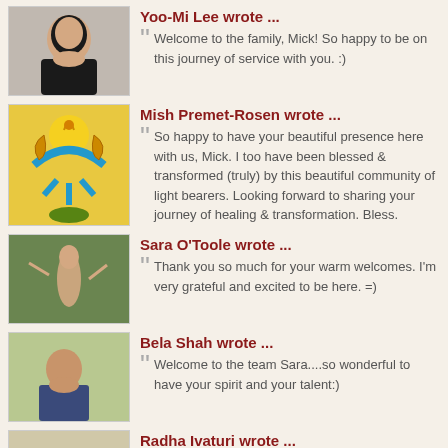Yoo-Mi Lee wrote ...
Welcome to the family, Mick! So happy to be on this journey of service with you. :)
Mish Premet-Rosen wrote ...
So happy to have your beautiful presence here with us, Mick. I too have been blessed & transformed (truly) by this beautiful community of light bearers. Looking forward to sharing your journey of healing & transformation. Bless.
Sara O'Toole wrote ...
Thank you so much for your warm welcomes. I'm very grateful and excited to be here. =)
Bela Shah wrote ...
Welcome to the team Sara....so wonderful to have your spirit and your talent:)
Radha Ivaturi wrote ...
So good to have you on the team Sara..Looking forward to hear more stories from you.:)